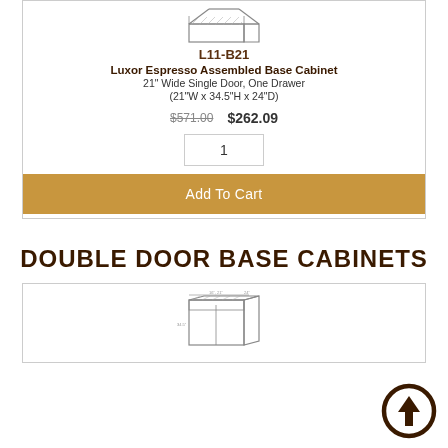[Figure (illustration): Line drawing diagram of a base cabinet with single door and one drawer]
L11-B21
Luxor Espresso Assembled Base Cabinet
21" Wide Single Door, One Drawer
(21"W x 34.5"H x 24"D)
$571.00   $262.09
1
Add To Cart
DOUBLE DOOR BASE CABINETS
[Figure (illustration): Line drawing diagram of a double door base cabinet]